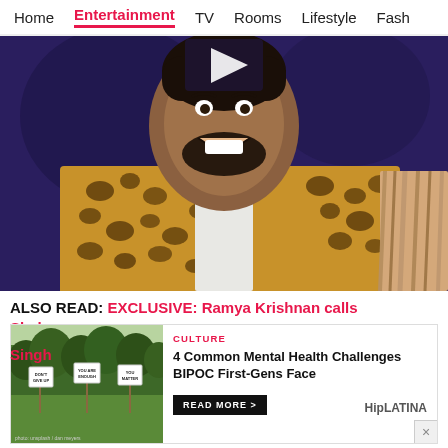Home | Entertainment | TV | Rooms | Lifestyle | Fash
[Figure (photo): Young man smiling, wearing a leopard-print jacket and chain necklace, dark blue background, video play button overlay at top]
ALSO READ: EXCLUSIVE: Ramya Krishnan calls Shah [...] Singh [...]
[Figure (photo): Outdoor scene with trees and three signs reading 'DON'T GIVE UP', 'YOU ARE ENOUGH', 'YOU MATTER']
CULTURE
4 Common Mental Health Challenges BIPOC First-Gens Face
READ MORE >
HipLATINA